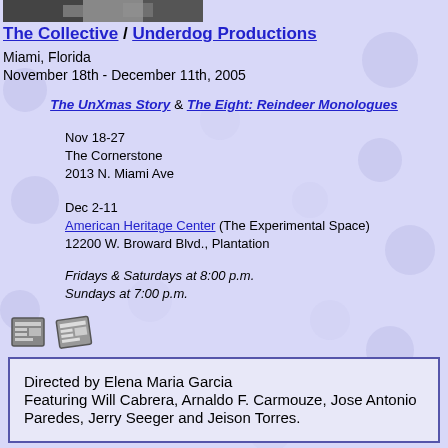[Figure (photo): Black and white photo strip at top of page]
The Collective / Underdog Productions
Miami, Florida
November 18th - December 11th, 2005
The UnXmas Story & The Eight: Reindeer Monologues
Nov 18-27
The Cornerstone
2013 N. Miami Ave
Dec 2-11
American Heritage Center (The Experimental Space)
12200 W. Broward Blvd., Plantation
Fridays & Saturdays at 8:00 p.m.
Sundays at 7:00 p.m.
Directed by Elena Maria Garcia
Featuring Will Cabrera, Arnaldo F. Carmouze, Jose Antonio Paredes, Jerry Seeger and Jeison Torres.